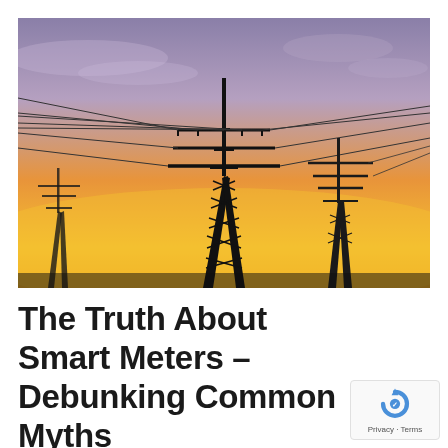[Figure (photo): Silhouettes of high-voltage electricity transmission towers against a dramatic sunset sky with orange, yellow, and purple hues. Multiple power line cables extend from the towers.]
The Truth About Smart Meters – Debunking Common Myths